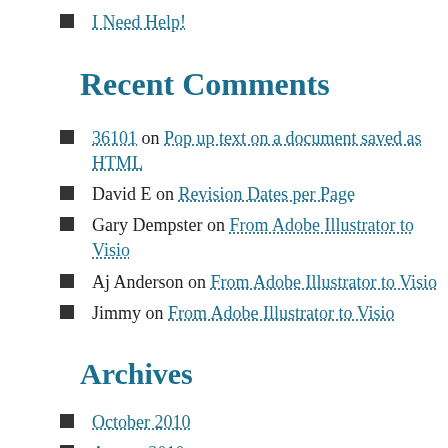I Need Help!
Recent Comments
36101 on Pop up text on a document saved as HTML
David E on Revision Dates per Page
Gary Dempster on From Adobe Illustrator to Visio
Aj Anderson on From Adobe Illustrator to Visio
Jimmy on From Adobe Illustrator to Visio
Archives
October 2010
August 2010
July 2010